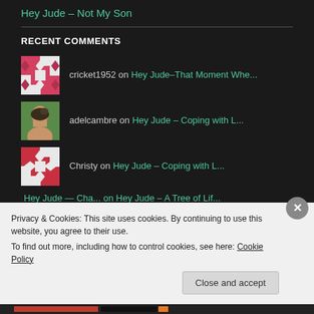Hey Jude – Not My Son
RECENT COMMENTS
cricket1952 on Hey Jude–That Moment Whe...
adelcambre on Hey Jude – Coping with L...
Christy on Hey Jude – Coping with L...
Hey Jude — Cha... on Hey Jude – A Tree of Lif...
Privacy & Cookies: This site uses cookies. By continuing to use this website, you agree to their use.
To find out more, including how to control cookies, see here: Cookie Policy
Close and accept